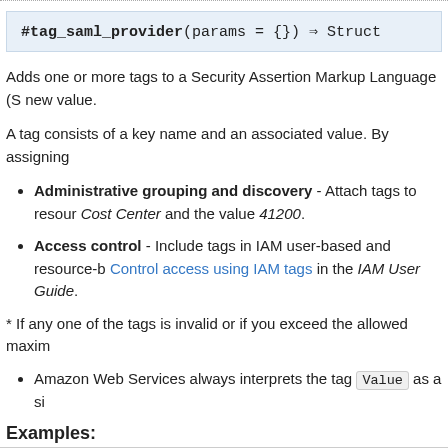Adds one or more tags to a Security Assertion Markup Language (S... new value.
A tag consists of a key name and an associated value. By assigning...
Administrative grouping and discovery - Attach tags to resour... Cost Center and the value 41200.
Access control - Include tags in IAM user-based and resource-b... Control access using IAM tags in the IAM User Guide.
* If any one of the tags is invalid or if you exceed the allowed maxim...
Amazon Web Services always interprets the tag Value as a si...
Examples:
► Request syntax with placeholder values